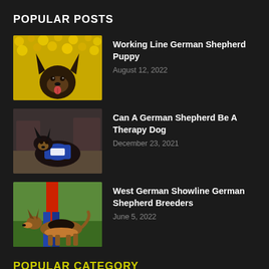POPULAR POSTS
[Figure (photo): German Shepherd puppy close-up with yellow flowers in background]
Working Line German Shepherd Puppy
August 12, 2022
[Figure (photo): German Shepherd wearing therapy dog vest indoors]
Can A German Shepherd Be A Therapy Dog
December 23, 2021
[Figure (photo): German Shepherd standing on grass next to person in red jacket]
West German Showline German Shepherd Breeders
June 5, 2022
POPULAR CATEGORY